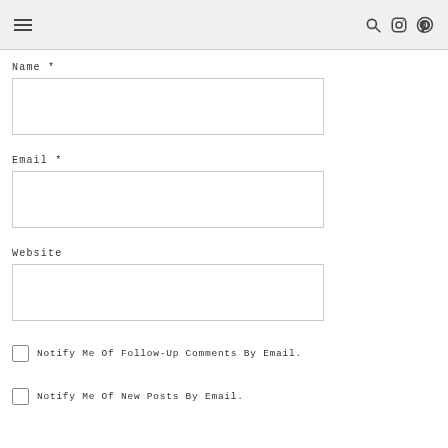Navigation header with hamburger menu and icons
Name *
[Figure (other): Name text input field (empty)]
Email *
[Figure (other): Email text input field (empty)]
Website
[Figure (other): Website text input field (empty)]
Notify Me Of Follow-Up Comments By Email.
Notify Me Of New Posts By Email.